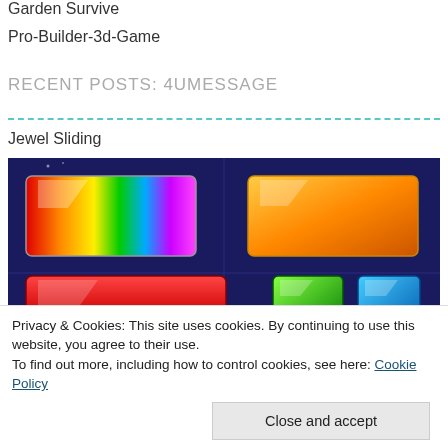Garden Survive
Pro-Builder-3d-Game
RECENT POSTS: 4UMESSAGE
Jewel Sliding
[Figure (screenshot): Screenshot of a jewel sliding puzzle game showing colorful gem tiles on a dark blue grid background. Visible gems include a large rainbow/multicolor rectangular gem, an orange gem, a red gem, and smaller green and blue gems.]
Privacy & Cookies: This site uses cookies. By continuing to use this website, you agree to their use.
To find out more, including how to control cookies, see here: Cookie Policy
Close and accept